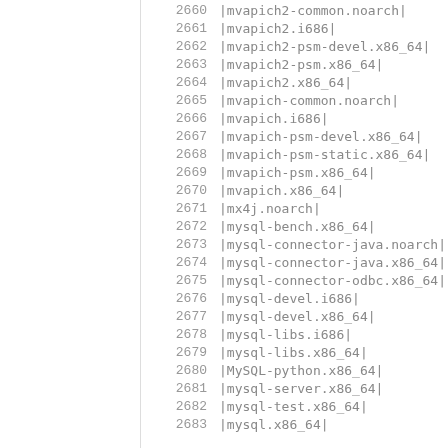| line | package |
| --- | --- |
| 2660 | |mvapich2-common.noarch| |
| 2661 | |mvapich2.i686| |
| 2662 | |mvapich2-psm-devel.x86_64| |
| 2663 | |mvapich2-psm.x86_64| |
| 2664 | |mvapich2.x86_64| |
| 2665 | |mvapich-common.noarch| |
| 2666 | |mvapich.i686| |
| 2667 | |mvapich-psm-devel.x86_64| |
| 2668 | |mvapich-psm-static.x86_64| |
| 2669 | |mvapich-psm.x86_64| |
| 2670 | |mvapich.x86_64| |
| 2671 | |mx4j.noarch| |
| 2672 | |mysql-bench.x86_64| |
| 2673 | |mysql-connector-java.noarch| |
| 2674 | |mysql-connector-java.x86_64| |
| 2675 | |mysql-connector-odbc.x86_64| |
| 2676 | |mysql-devel.i686| |
| 2677 | |mysql-devel.x86_64| |
| 2678 | |mysql-libs.i686| |
| 2679 | |mysql-libs.x86_64| |
| 2680 | |MySQL-python.x86_64| |
| 2681 | |mysql-server.x86_64| |
| 2682 | |mysql-test.x86_64| |
| 2683 | |mysql.x86_64| |
| 2684 | ... |